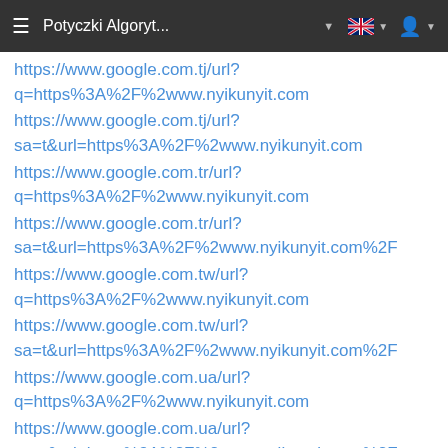Potyczki Algoryt...
https://www.google.com.tj/url?q=https%3A%2F%2www.nyikunyit.com
https://www.google.com.tj/url?sa=t&url=https%3A%2F%2www.nyikunyit.com
https://www.google.com.tr/url?q=https%3A%2F%2www.nyikunyit.com
https://www.google.com.tr/url?sa=t&url=https%3A%2F%2www.nyikunyit.com%2F
https://www.google.com.tw/url?q=https%3A%2F%2www.nyikunyit.com
https://www.google.com.tw/url?sa=t&url=https%3A%2F%2www.nyikunyit.com%2F
https://www.google.com.ua/url?q=https%3A%2F%2www.nyikunyit.com
https://www.google.com.ua/url?sa=t&url=https%3A%2F%2www.nyikunyit.com%2F
https://www.google.com.uy/url?q=https%3A%2F%2www.nyikunyit.com
https://www.google.com.uy/url?sa=t&url=https%3A%2F%2www.nyikunyit.com%2F